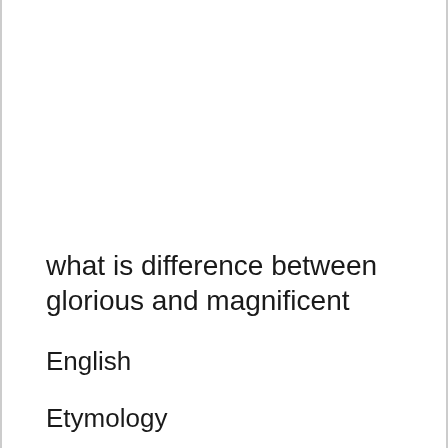what is difference between glorious and magnificent
English
Etymology